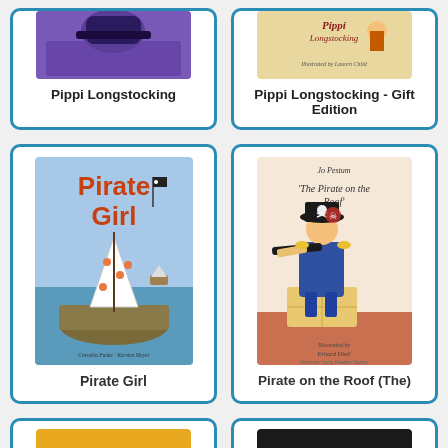[Figure (illustration): Book cover for Pippi Longstocking - purple cover partially visible at top]
Pippi Longstocking
[Figure (illustration): Book cover for Pippi Longstocking - Gift Edition, Illustrated by Lauren Child]
Pippi Longstocking - Gift Edition
[Figure (illustration): Book cover for Pirate Girl by Cornelia Funke and Kersten Meyer, showing a pirate ship with sail]
Pirate Girl
[Figure (illustration): Book cover for The Pirate on the Roof by Jo Pestum, illustrated by Erhard Dietl, showing a pirate with telescope]
Pirate on the Roof (The)
[Figure (illustration): Book cover partially visible at bottom left - yellow/orange cover]
[Figure (illustration): Book cover partially visible at bottom right - dark cover]